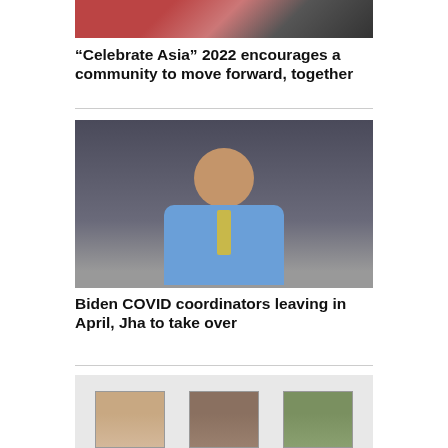[Figure (photo): Top portion of a photo showing people, partially cropped at top of page]
“Celebrate Asia” 2022 encourages a community to move forward, together
[Figure (photo): Portrait photo of a smiling man with glasses, wearing a blue shirt and yellow tie, against a dark grey background]
Biden COVID coordinators leaving in April, Jha to take over
[Figure (photo): Bottom photo showing three small portrait images of different people side by side]